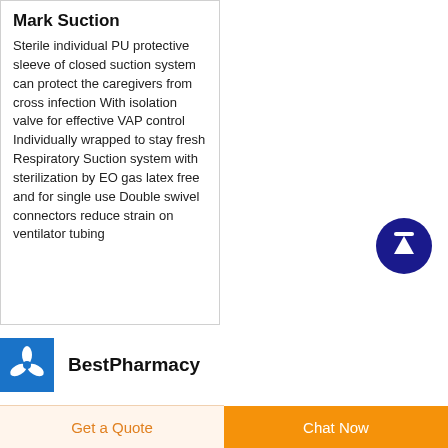Mark Suction
Sterile individual PU protective sleeve of closed suction system can protect the caregivers from cross infection With isolation valve for effective VAP control Individually wrapped to stay fresh Respiratory Suction system with sterilization by EO gas latex free and for single use Double swivel connectors reduce strain on ventilator tubing
[Figure (logo): BestPharmacy logo — blue square with white propeller/fan icon]
BestPharmacy
Get a Quote
Chat Now